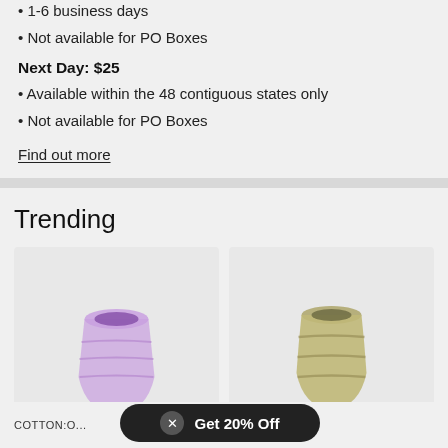• 1-6 business days
• Not available for PO Boxes
Next Day: $25
• Available within the 48 contiguous states only
• Not available for PO Boxes
Find out more
Trending
[Figure (photo): Purple glass candle holder / vase product on light gray background]
[Figure (photo): Olive/tan colored ceramic candle holder / vase product on light gray background]
COTTON:O...
Get 20% Off